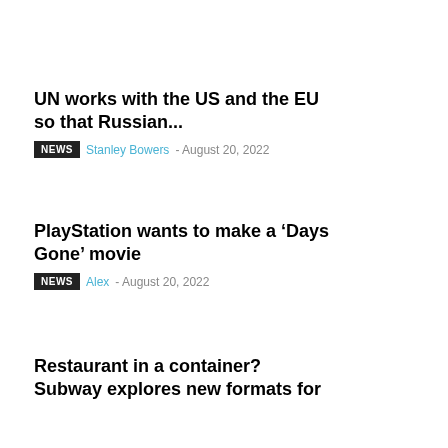UN works with the US and the EU so that Russian...
NEWS Stanley Bowers - August 20, 2022
PlayStation wants to make a ‘Days Gone’ movie
NEWS Alex - August 20, 2022
Restaurant in a container? Subway explores new formats for